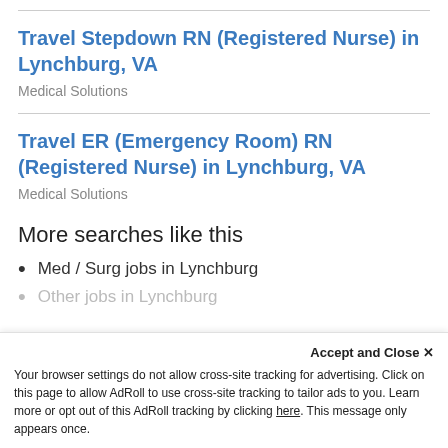Travel Stepdown RN (Registered Nurse) in Lynchburg, VA
Medical Solutions
Travel ER (Emergency Room) RN (Registered Nurse) in Lynchburg, VA
Medical Solutions
More searches like this
Med / Surg jobs in Lynchburg
Other jobs in Lynchburg
Accept and Close ✕
Your browser settings do not allow cross-site tracking for advertising. Click on this page to allow AdRoll to use cross-site tracking to tailor ads to you. Learn more or opt out of this AdRoll tracking by clicking here. This message only appears once.